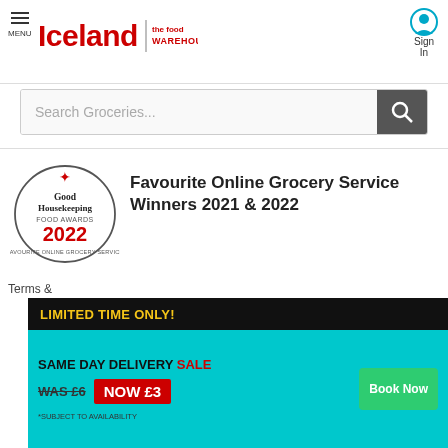[Figure (screenshot): Iceland supermarket website header with logo, menu icon, sign-in button, search bar, Good Housekeeping Food Awards 2022 badge, 'We Securely Accept' payment logos section, and a pop-up ad banner for 'Same Day Delivery Sale: WAS £6 NOW £3']
Favourite Online Grocery Service Winners 2021 & 2022
We Securely Accept
LIMITED TIME ONLY!
SAME DAY DELIVERY SALE
WAS £6 NOW £3
*SUBJECT TO AVAILABILITY
Book Now
Terms &